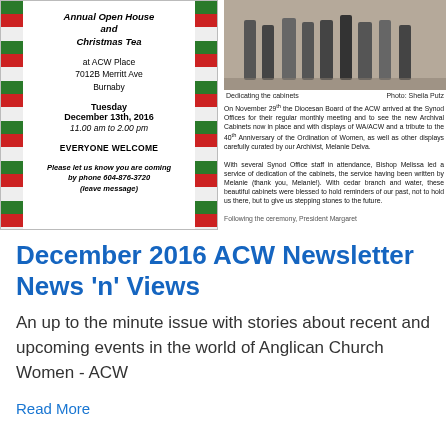[Figure (infographic): Christmas event flyer with green and red striped borders on left and right. Text announces Annual Open House and Christmas Tea at ACW Place, 7012B Merritt Ave, Burnaby, Tuesday December 13th, 2016, 11.00 am to 2.00 pm, EVERYONE WELCOME. RSVP by phone 604-876-3720 (leave message).]
[Figure (photo): Photo showing people's legs and feet walking, likely during a cabinet dedication ceremony at Synod Offices.]
Dedicating the cabinets   Photo: Sheila Putz
On November 29th the Diocesan Board of the ACW arrived at the Synod Offices for their regular monthly meeting and to see the new Archival Cabinets now in place and with displays of WA/ACW and a tribute to the 40th Anniversary of the Ordination of Women, as well as other displays carefully curated by our Archivist, Melanie Delva.

With several Synod Office staff in attendance, Bishop Melissa led a service of dedication of the cabinets, the service having been written by Melanie (thank you, Melanie!). With cedar branch and water, these beautiful cabinets were blessed to hold reminders of our past, not to hold us there, but to give us stepping stones to the future.

Following the ceremony, President Margaret
December 2016 ACW Newsletter News 'n' Views
An up to the minute issue with stories about recent and upcoming events in the world of Anglican Church Women - ACW
Read More